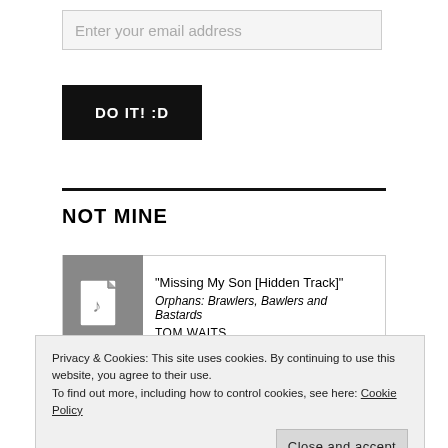Enter your email address
DO IT! :D
NOT MINE
[Figure (other): Music track card showing a grey document icon with a musical note. Track: "Missing My Son [Hidden Track]" from Orphans: Brawlers, Bawlers and Bastards by TOM WAITS]
Privacy & Cookies: This site uses cookies. By continuing to use this website, you agree to their use.
To find out more, including how to control cookies, see here: Cookie Policy
Close and accept
2.  Well — CAPTAIN BEEF HEART    2.08